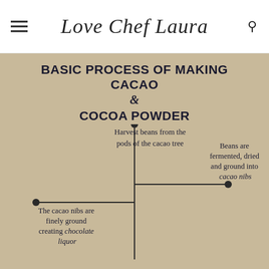Love Chef Laura
BASIC PROCESS OF MAKING CACAO & COCOA POWDER
[Figure (flowchart): Flowchart showing the basic process of making cacao and cocoa powder. Steps: 1. Harvest beans from the pods of the cacao tree. 2. Beans are fermented, dried and ground into cacao nibs. 3. The cacao nibs are finely ground creating chocolate liquor.]